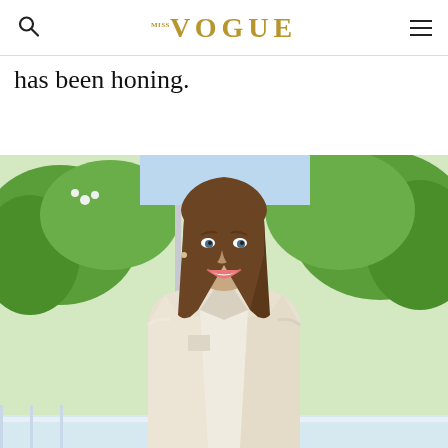VOGUE
has been honing.
[Figure (photo): A woman with long brown hair smiling, wearing a cream/off-white blazer jacket over a light top, standing outdoors with green trees and foliage in the background.]